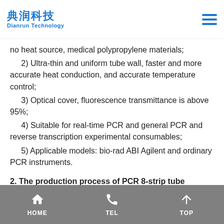典润科技 Dianrun Technology
no heat source, medical polypropylene materials;
2) Ultra-thin and uniform tube wall, faster and more accurate heat conduction, and accurate temperature control;
3) Optical cover, fluorescence transmittance is above 95%;
4) Suitable for real-time PCR and general PCR and reverse transcription experimental consumables;
5) Applicable models: bio-rad ABI Agilent and ordinary PCR instruments.
2. The production process of PCR 8-strip tube
HOME   TEL   TOP